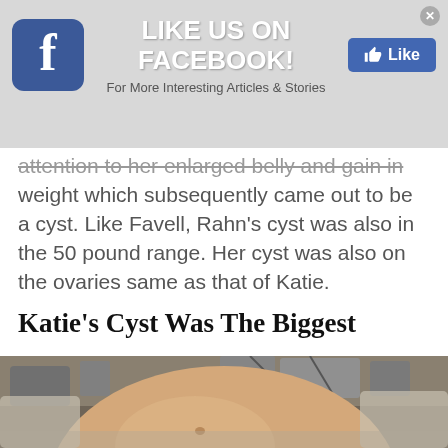[Figure (screenshot): Facebook 'Like Us on Facebook!' advertisement banner with Facebook logo icon, centered text 'LIKE US ON FACEBOOK!' and subtitle 'For More Interesting Articles & Stories', and a blue Like button on the right. Close button top-right.]
attention to her enlarged belly and gain in weight which subsequently came out to be a cyst. Like Favell, Rahn's cyst was also in the 50 pound range. Her cyst was also on the ovaries same as that of Katie.
Katie's Cyst Was The Biggest
[Figure (photo): Medical photo showing a very large, round abdomen/belly of a patient lying in what appears to be a hospital room with medical equipment visible in the background.]